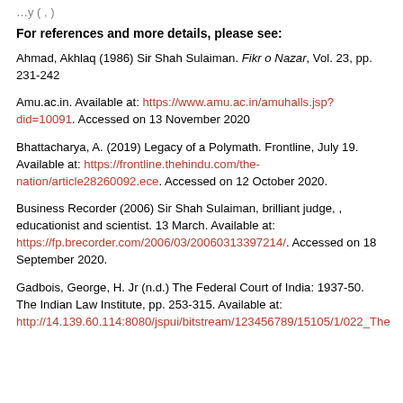…(partial text cut off at top)
For references and more details, please see:
Ahmad, Akhlaq (1986) Sir Shah Sulaiman. Fikr o Nazar, Vol. 23, pp. 231-242
Amu.ac.in. Available at: https://www.amu.ac.in/amuhalls.jsp?did=10091. Accessed on 13 November 2020
Bhattacharya, A. (2019) Legacy of a Polymath. Frontline, July 19. Available at: https://frontline.thehindu.com/the-nation/article28260092.ece. Accessed on 12 October 2020.
Business Recorder (2006) Sir Shah Sulaiman, brilliant judge, , educationist and scientist. 13 March. Available at: https://fp.brecorder.com/2006/03/20060313397214/. Accessed on 18 September 2020.
Gadbois, George, H. Jr (n.d.) The Federal Court of India: 1937-50. The Indian Law Institute, pp. 253-315. Available at: http://14.139.60.114:8080/jspui/bitstream/123456789/15105/1/022_The